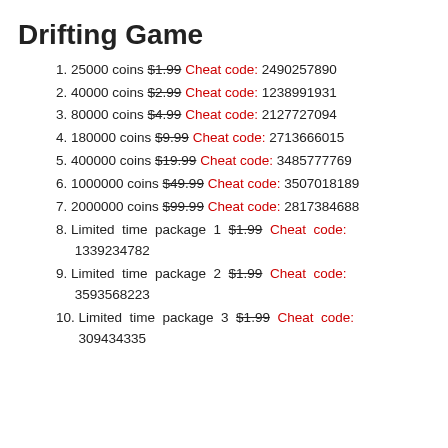Drifting Game
25000 coins $1.99 Cheat code: 2490257890
40000 coins $2.99 Cheat code: 1238991931
80000 coins $4.99 Cheat code: 2127727094
180000 coins $9.99 Cheat code: 2713666015
400000 coins $19.99 Cheat code: 3485777769
1000000 coins $49.99 Cheat code: 3507018189
2000000 coins $99.99 Cheat code: 2817384688
Limited time package 1 $1.99 Cheat code: 1339234782
Limited time package 2 $1.99 Cheat code: 3593568223
Limited time package 3 $1.99 Cheat code: 309434335